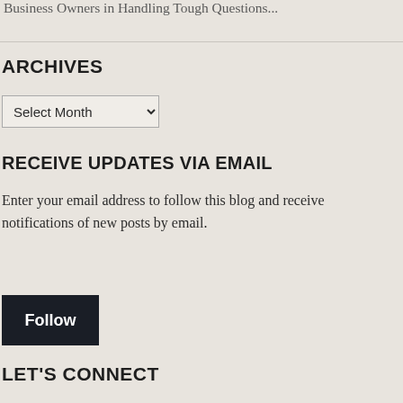Business Owners in Handling Tough Questions...
ARCHIVES
Select Month
RECEIVE UPDATES VIA EMAIL
Enter your email address to follow this blog and receive notifications of new posts by email.
Enter your email address
Follow
LET'S CONNECT